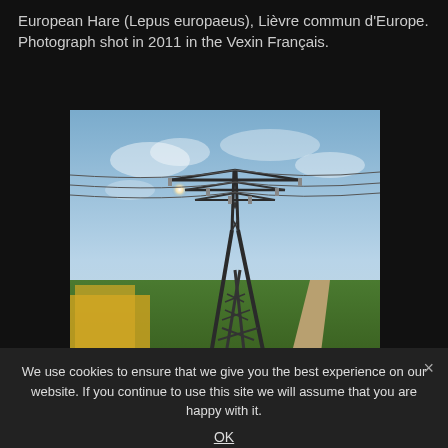European Hare (Lepus europaeus), Lièvre commun d'Europe. Photograph shot in 2011 in the Vexin Français.
[Figure (photo): Photograph of a tall electricity transmission pylon/tower in a rural French landscape with yellow rapeseed flowers in the foreground, green fields, a dirt road, and a partly cloudy sky with the sun visible behind the pylon.]
Posted in Nature and global warming, Photo safari
0 comments
Vexin français
by Yves Roumazeilles on April 30, 2011
We use cookies to ensure that we give you the best experience on our website. If you continue to use this site we will assume that you are happy with it.